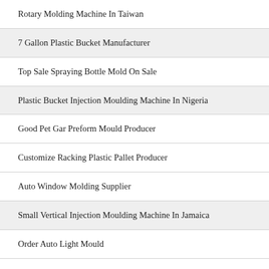Rotary Molding Machine In Taiwan
7 Gallon Plastic Bucket Manufacturer
Top Sale Spraying Bottle Mold On Sale
Plastic Bucket Injection Moulding Machine In Nigeria
Good Pet Gar Preform Mould Producer
Customize Racking Plastic Pallet Producer
Auto Window Molding Supplier
Small Vertical Injection Moulding Machine In Jamaica
Order Auto Light Mould
Benchtop Injection Molding Machine In Russia